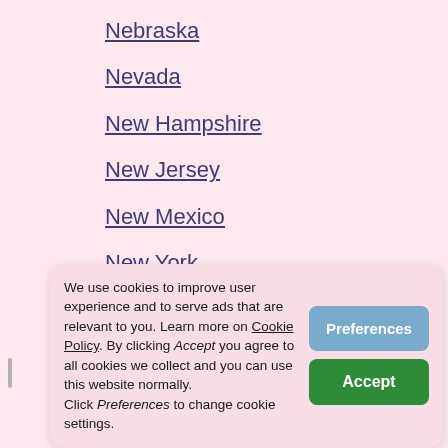Nebraska
Nevada
New Hampshire
New Jersey
New Mexico
New York
North Carolina
North Dakota
Ohio
Oklahoma
We use cookies to improve user experience and to serve ads that are relevant to you. Learn more on Cookie Policy. By clicking Accept you agree to all cookies we collect and you can use this website normally. Click Preferences to change cookie settings.